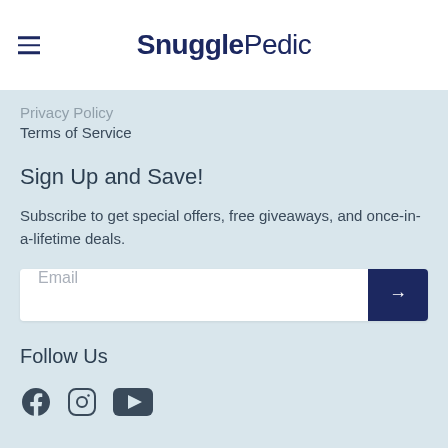SnugglePedic
Privacy Policy
Terms of Service
Sign Up and Save!
Subscribe to get special offers, free giveaways, and once-in-a-lifetime deals.
Email
Follow Us
[Figure (illustration): Social media icons: Facebook, Instagram, YouTube]